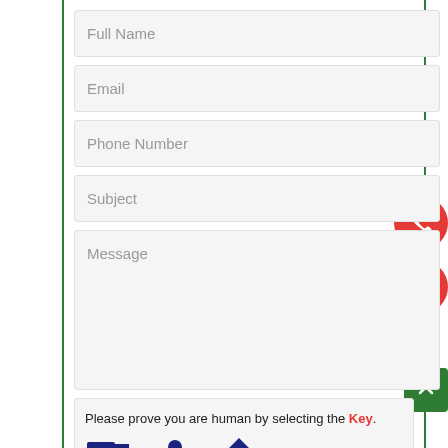[Figure (screenshot): Contact form with fields: Full Name, Email, Phone Number, Subject, Message, and a CAPTCHA verification box. Two red circular floating action buttons (phone and mail icons) on the right side. A green scroll-to-top button in the bottom right. Green vertical borders on left and right.]
Full Name
Email
Phone Number
Subject
Message
Please prove you are human by selecting the Key.